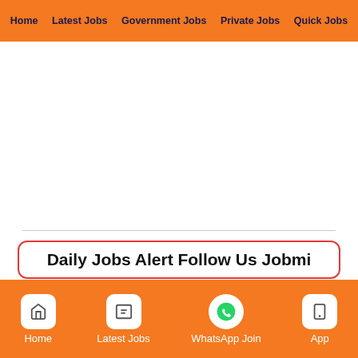Home | Latest Jobs | Government Jobs | Private Jobs | Quick Jobs
[Figure (other): Large blank white advertisement/content area in center of page]
Daily Jobs Alert Follow Us Jobmi
| Download Mobile App | Click Here |
| --- | --- |